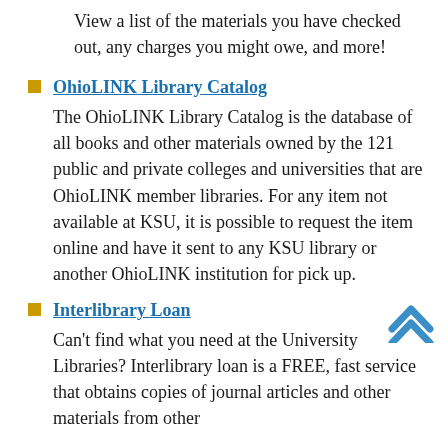View a list of the materials you have checked out, any charges you might owe, and more!
OhioLINK Library Catalog
The OhioLINK Library Catalog is the database of all books and other materials owned by the 121 public and private colleges and universities that are OhioLINK member libraries. For any item not available at KSU, it is possible to request the item online and have it sent to any KSU library or another OhioLINK institution for pick up.
Interlibrary Loan
Can't find what you need at the University Libraries? Interlibrary loan is a FREE, fast service that obtains copies of journal articles and other materials from other